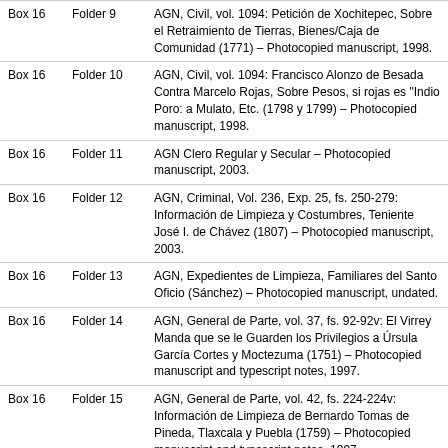| Box | Folder | Description |
| --- | --- | --- |
| Box 16 | Folder 9 | AGN, Civil, vol. 1094: Petición de Xochitepec, Sobre el Retraimiento de Tierras, Bienes/Caja de Comunidad (1771) – Photocopied manuscript, 1998. |
| Box 16 | Folder 10 | AGN, Civil, vol. 1094: Francisco Alonzo de Besada Contra Marcelo Rojas, Sobre Pesos, si rojas es "Indio Poro: a Mulato, Etc. (1798 y 1799) – Photocopied manuscript, 1998. |
| Box 16 | Folder 11 | AGN Clero Regular y Secular – Photocopied manuscript, 2003. |
| Box 16 | Folder 12 | AGN, Criminal, Vol. 236, Exp. 25, fs. 250-279: Información de Limpieza y Costumbres, Teniente José I. de Chávez (1807) – Photocopied manuscript, 2003. |
| Box 16 | Folder 13 | AGN, Expedientes de Limpieza, Familiares del Santo Oficio (Sánchez) – Photocopied manuscript, undated. |
| Box 16 | Folder 14 | AGN, General de Parte, vol. 37, fs. 92-92v: El Virrey Manda que se le Guarden los Privilegios a Úrsula García Cortes y Moctezuma (1751) – Photocopied manuscript and typescript notes, 1997. |
| Box 16 | Folder 15 | AGN, General de Parte, vol. 42, fs. 224-224v: Información de Limpieza de Bernardo Tomas de Pineda, Tlaxcala y Puebla (1759) – Photocopied manuscript and typescript notes, 1997. |
| Box 16 | Folder 16 | AGN, General de Parte, vol. 60, exp. 38, fs. 24: |